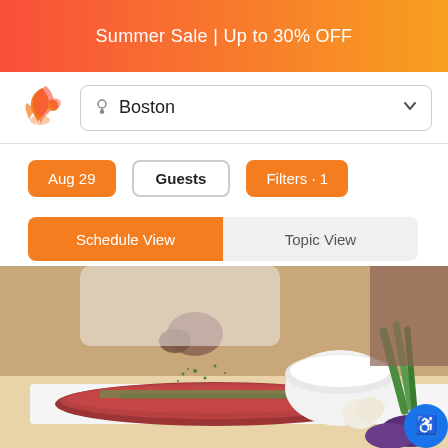Summer Sale | Up to 30% OFF
[Figure (logo): Orange flame/swirl logo mark]
Boston
Aug 29
Guests
Filters · 1
Schedule View
Topic View
[Figure (photo): Chef sprinkling herbs on a raw steak on a white cutting board, with a white bowl, garlic, green onions and eggplant in the background]